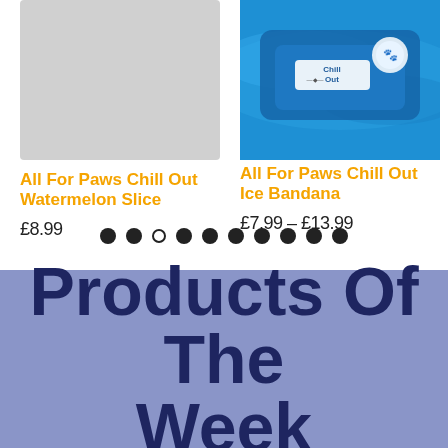[Figure (photo): Light gray placeholder image for All For Paws Chill Out Watermelon Slice product]
All For Paws Chill Out Watermelon Slice
£8.99
[Figure (photo): Product photo of All For Paws Chill Out Ice Bandana showing blue cooling bandana packaging]
All For Paws Chill Out Ice Bandana
£7.99 – £13.99
[Figure (other): Carousel navigation dots: 10 dots, third one is outline/empty, others filled]
Products Of The Week